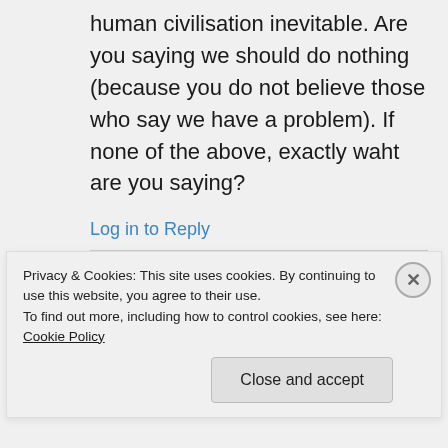human civilisation inevitable. Are you saying we should do nothing (because you do not believe those who say we have a problem). If none of the above, exactly waht are you saying?
Log in to Reply
greenman3610 on November 9, 2011 at 6:16 pm
Privacy & Cookies: This site uses cookies. By continuing to use this website, you agree to their use.
To find out more, including how to control cookies, see here: Cookie Policy
Close and accept